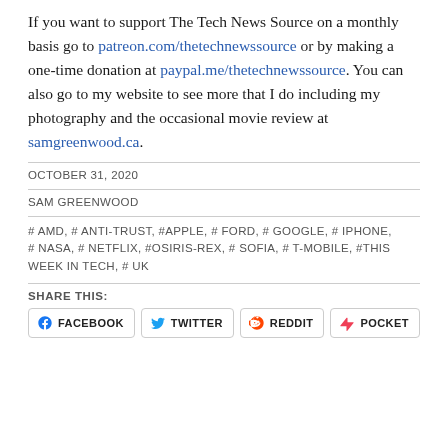If you want to support The Tech News Source on a monthly basis go to patreon.com/thetechnewssource or by making a one-time donation at paypal.me/thetechnewssource. You can also go to my website to see more that I do including my photography and the occasional movie review at samgreenwood.ca.
OCTOBER 31, 2020
SAM GREENWOOD
# AMD, # ANTI-TRUST, #APPLE, # FORD, # GOOGLE, # IPHONE, # NASA, # NETFLIX, #OSIRIS-REX, # SOFIA, # T-MOBILE, #THIS WEEK IN TECH, # UK
SHARE THIS:
FACEBOOK  TWITTER  REDDIT  POCKET